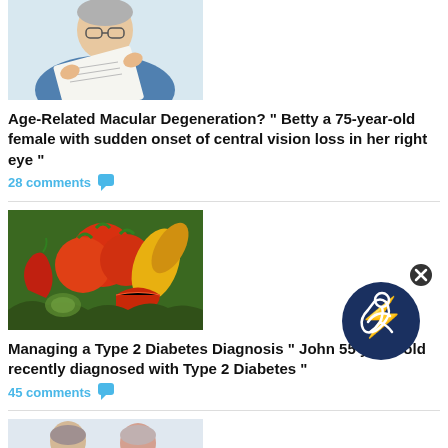[Figure (photo): Elderly man reading, partially visible at top of page]
Age-Related Macular Degeneration? " Betty a 75-year-old female with sudden onset of central vision loss in her right eye "
28 comments
[Figure (photo): Colorful vegetables including tomatoes, peppers, and greens]
Managing a Type 2 Diabetes Diagnosis " John 55 years old recently diagnosed with Type 2 Diabetes "
45 comments
[Figure (photo): Doctor and patient consultation, partially visible at bottom]